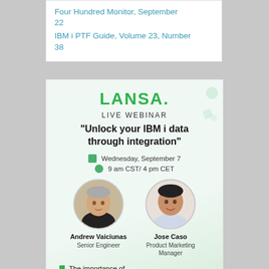Four Hundred Monitor, September 22
IBM i PTF Guide, Volume 23, Number 38
[Figure (infographic): LANSA Live Webinar advertisement. Logo: LANSA. Title: Unlock your IBM i data through integration. Date: Wednesday, September 7. Time: 9 am CST / 4 pm CET. Speakers: Andrew Vaiciunas (Senior Engineer) and Jose Caso (Product Marketing Manager). Bullet: The importance of unlocking your core data.]
The importance of unlocking your core data